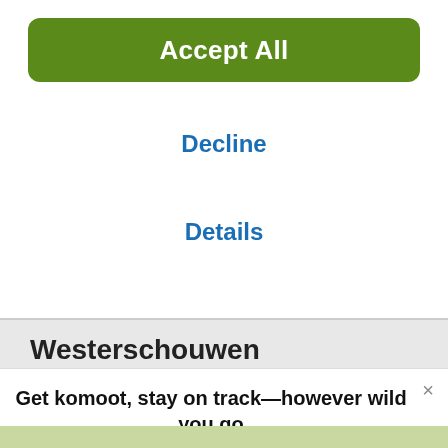[Figure (screenshot): Cookie consent dialog with Accept All green button at top]
Accept All
Decline
Details
Westerschouwen
Get komoot, stay on track—however wild you go
With turn-by-turn voice navigation and offline maps, the komoot app will always keep your adventure on track, even when the internet's down or unreliable.
[Figure (logo): Download on the App Store button (black)]